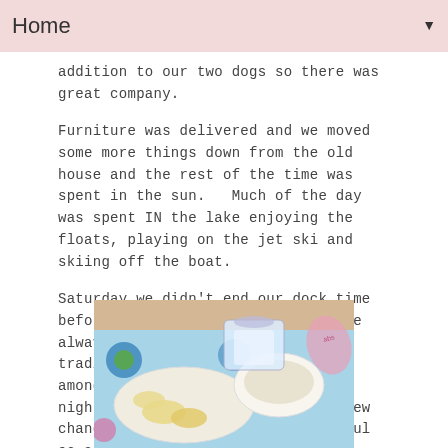Home
addition to our two dogs so there was great company.
Furniture was delivered and we moved some more things down from the old house and the rest of the time was spent in the sun.   Much of the day was spent IN the lake enjoying the floats, playing on the jet ski and skiing off the boat.
Saturday we didn't end our dock time before about 6:30.  Happy hours are always popular at the lake and the traditional clam dip was served amongst some additional items each night.  In the excitement of the new change, picture taking was plentiful so a photo overload of the weekend below...
[Figure (photo): Photo of food items on a colorful patterned plate/tray — appears to show clam dip or similar snack food in bowls on a blue floral tablecloth/napkin.]